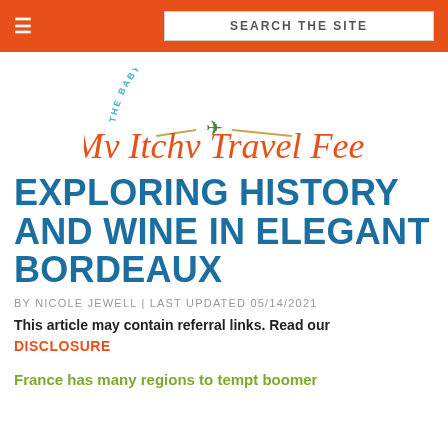≡  SEARCH THE SITE
[Figure (logo): My Itchy Travel Feet logo - The Baby Boomer's Guide to Travel, with airplane graphic and orange script text]
EXPLORING HISTORY AND WINE IN ELEGANT BORDEAUX
BY NICOLE JEWELL | LAST UPDATED 05/14/2021
This article may contain referral links. Read our DISCLOSURE
France has many regions to tempt boomer